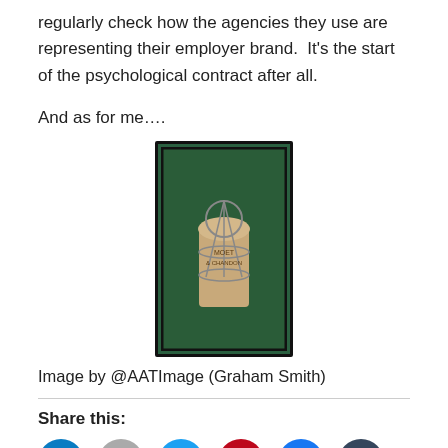regularly check how the agencies they use are representing their employer brand.  It's the start of the psychological contract after all.
And as for me….
[Figure (photo): A champagne cork with cage wire, photographed against a green background with a dark border.]
Image by @AATImage (Graham Smith)
Share this:
Loading...